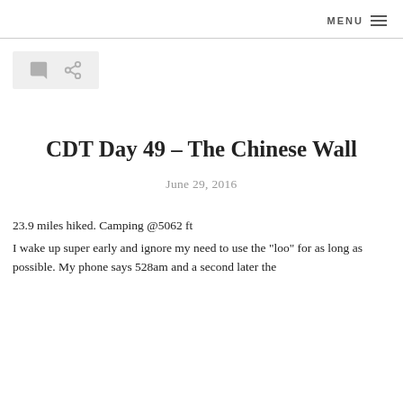MENU
[Figure (other): Icon bar with comment bubble and share/link icons on a light grey background]
CDT Day 49 – The Chinese Wall
June 29, 2016
23.9 miles hiked. Camping @5062 ft
I wake up super early and ignore my need to use the "loo" for as long as possible. My phone says 528am and a second later the